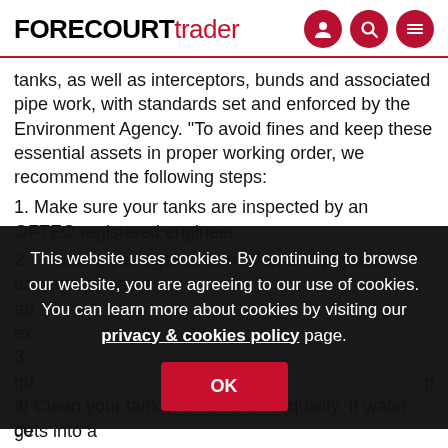FORECOURTtrader
tanks, as well as interceptors, bunds and associated pipe work, with standards set and enforced by the Environment Agency. "To avoid fines and keep these essential assets in proper working order, we recommend the following steps:
1. Make sure your tanks are inspected by an OFTEC registered engineer.
2. Protect pipes against corrosion and physical damage pipes be... ab... ex...
3. ... gu... al... co...
This website uses cookies. By continuing to browse our website, you are agreeing to our use of cookies. You can learn more about cookies by visiting our privacy & cookies policy page.
4. Clean your tanks to ensure fuel quality. If water gets into a tank it...